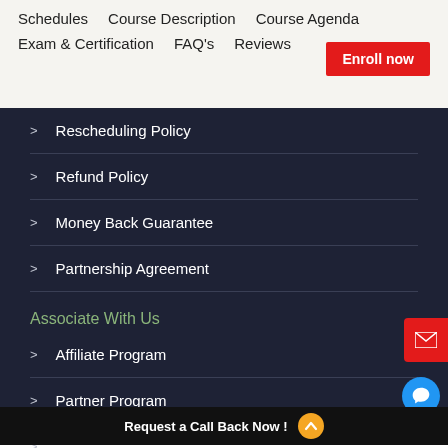Schedules   Course Description   Course Agenda
Exam & Certification   FAQ's   Reviews   Enroll now
Rescheduling Policy
Refund Policy
Money Back Guarantee
Partnership Agreement
Associate With Us
Affiliate Program
Partner Program
Become an instructor
Request a Call Back Now !